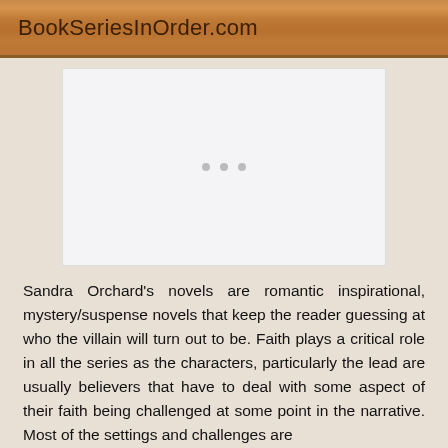BookSeriesInOrder.com
[Figure (other): Advertisement placeholder box with three small grey dots in the center]
Sandra Orchard's novels are romantic inspirational, mystery/suspense novels that keep the reader guessing at who the villain will turn out to be. Faith plays a critical role in all the series as the characters, particularly the lead are usually believers that have to deal with some aspect of their faith being challenged at some point in the narrative. Most of the settings and challenges are